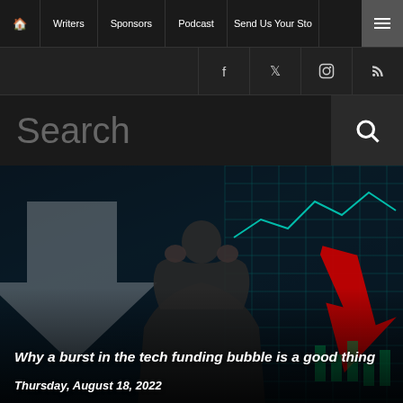🏠  Writers  Sponsors  Podcast  Send Us Your Sto... ☰
f  🐦  📷  RSS
Search
[Figure (photo): A businessman seen from behind with hands on head, surrounded by financial market charts showing downward trends, in a dark teal/blue color scheme with red downward arrows.]
Why a burst in the tech funding bubble is a good thing
Thursday, August 18, 2022